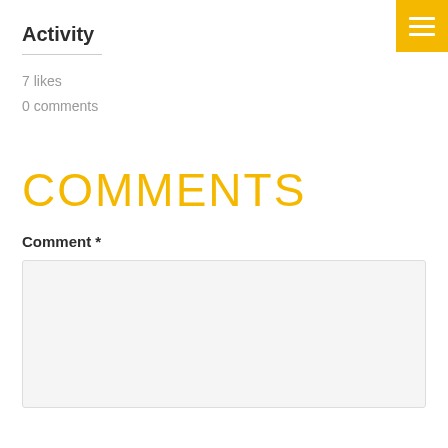Activity
7 likes
0 comments
COMMENTS
Comment *
[Figure (other): Empty comment text area input box with light gray background]